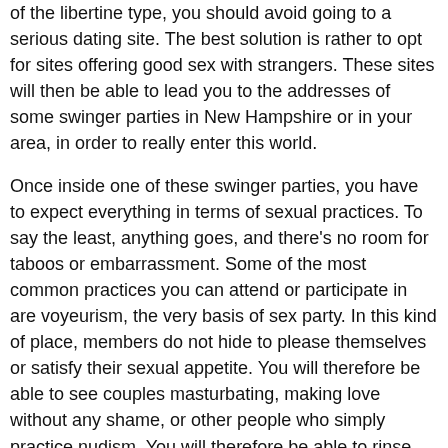of the libertine type, you should avoid going to a serious dating site. The best solution is rather to opt for sites offering good sex with strangers. These sites will then be able to lead you to the addresses of some swinger parties in New Hampshire or in your area, in order to really enter this world.
Once inside one of these swinger parties, you have to expect everything in terms of sexual practices. To say the least, anything goes, and there's no room for taboos or embarrassment. Some of the most common practices you can attend or participate in are voyeurism, the very basis of sex party. In this kind of place, members do not hide to please themselves or satisfy their sexual appetite. You will therefore be able to see couples masturbating, making love without any shame, or other people who simply practice nudism. You will therefore be able to rinse your eyes, admire huge cocks, pussies of all colours, big tits like you've never seen before, without fear of disturbing anyone, because exhibitionists love to be the object of attention. You'll think you're in the middle of shooting a porn movie, except that the actors really get their kicks out of it.